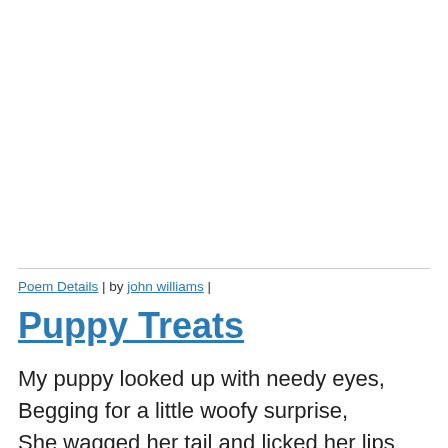Poem Details | by john williams |
Puppy Treats
My puppy looked up with needy eyes,
Begging for a little woofy surprise,
She wagged her tail and licked her lips
And fed her taste for the best trips